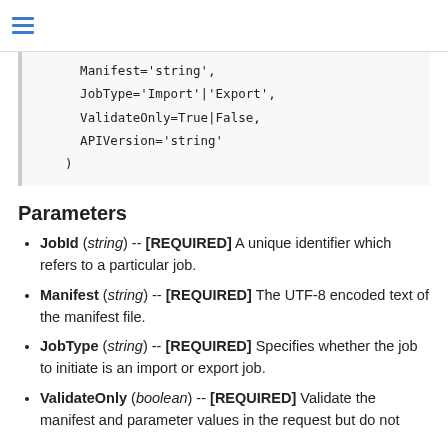Manifest='string',
JobType='Import'|'Export',
ValidateOnly=True|False,
APIVersion='string'
)
Parameters
JobId (string) -- [REQUIRED] A unique identifier which refers to a particular job.
Manifest (string) -- [REQUIRED] The UTF-8 encoded text of the manifest file.
JobType (string) -- [REQUIRED] Specifies whether the job to initiate is an import or export job.
ValidateOnly (boolean) -- [REQUIRED] Validate the manifest and parameter values in the request but do not